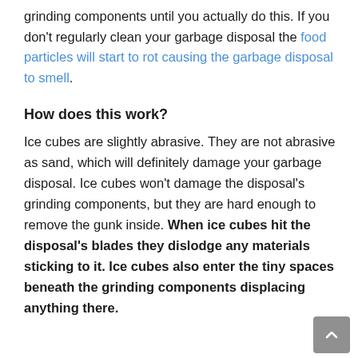grinding components until you actually do this. If you don't regularly clean your garbage disposal the food particles will start to rot causing the garbage disposal to smell.
How does this work?
Ice cubes are slightly abrasive. They are not abrasive as sand, which will definitely damage your garbage disposal. Ice cubes won't damage the disposal's grinding components, but they are hard enough to remove the gunk inside. When ice cubes hit the disposal's blades they dislodge any materials sticking to it. Ice cubes also enter the tiny spaces beneath the grinding components displacing anything there.